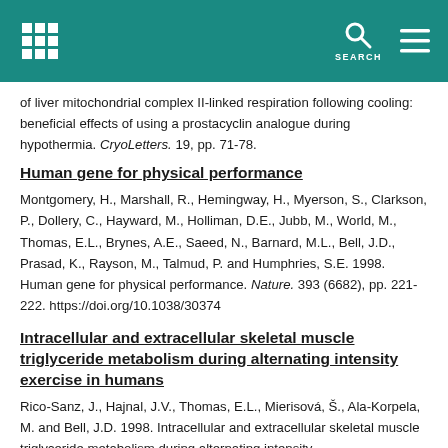SEARCH
of liver mitochondrial complex II-linked respiration following cooling: beneficial effects of using a prostacyclin analogue during hypothermia. CryoLetters. 19, pp. 71-78.
Human gene for physical performance
Montgomery, H., Marshall, R., Hemingway, H., Myerson, S., Clarkson, P., Dollery, C., Hayward, M., Holliman, D.E., Jubb, M., World, M., Thomas, E.L., Brynes, A.E., Saeed, N., Barnard, M.L., Bell, J.D., Prasad, K., Rayson, M., Talmud, P. and Humphries, S.E. 1998. Human gene for physical performance. Nature. 393 (6682), pp. 221-222. https://doi.org/10.1038/30374
Intracellular and extracellular skeletal muscle triglyceride metabolism during alternating intensity exercise in humans
Rico-Sanz, J., Hajnal, J.V., Thomas, E.L., Mierisová, Š., Ala-Korpela, M. and Bell, J.D. 1998. Intracellular and extracellular skeletal muscle triglyceride metabolism during alternating intensity